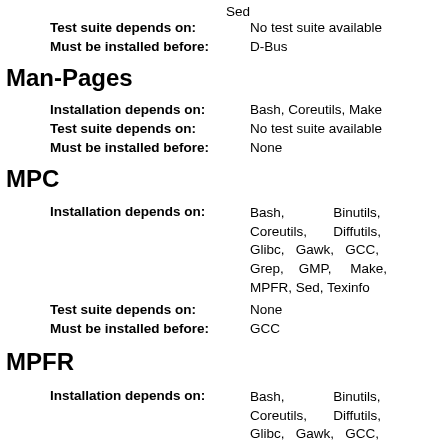Sed
Test suite depends on: No test suite available
Must be installed before: D-Bus
Man-Pages
Installation depends on: Bash, Coreutils, Make
Test suite depends on: No test suite available
Must be installed before: None
MPC
Installation depends on: Bash, Binutils, Coreutils, Diffutils, Glibc, Gawk, GCC, Grep, GMP, Make, MPFR, Sed, Texinfo
Test suite depends on: None
Must be installed before: GCC
MPFR
Installation depends on: Bash, Binutils, Coreutils, Diffutils, Glibc, Gawk, GCC, Grep, GMP, Make, Sed,